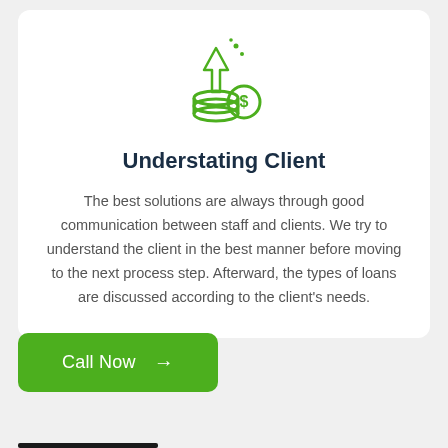[Figure (illustration): Green line-art icon showing stacked coins with a dollar sign coin and an upward arrow with small accent marks above it]
Understating Client
The best solutions are always through good communication between staff and clients. We try to understand the client in the best manner before moving to the next process step. Afterward, the types of loans are discussed according to the client's needs.
Call Now →